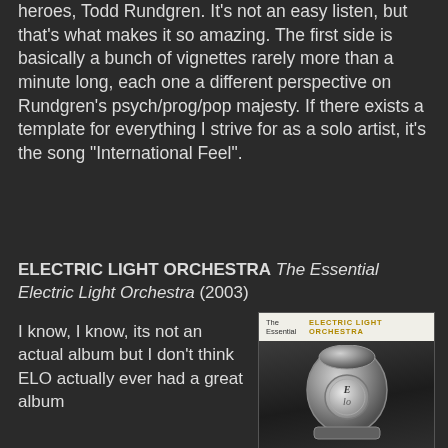heroes, Todd Rundgren. It's not an easy listen, but that's what makes it so amazing. The first side is basically a bunch of vignettes rarely more than a minute long, each one a different perspective on Rundgren's psych/prog/pop majesty. If there exists a template for everything I strive for as a solo artist, it's the song "International Feel".
ELECTRIC LIGHT ORCHESTRA The Essential Electric Light Orchestra (2003)
I know, I know, its not an actual album but I don't think ELO actually ever had a great album
[Figure (photo): Album cover of The Essential Electric Light Orchestra (2003) showing a chrome jukebox with the ELO logo on a light background header.]